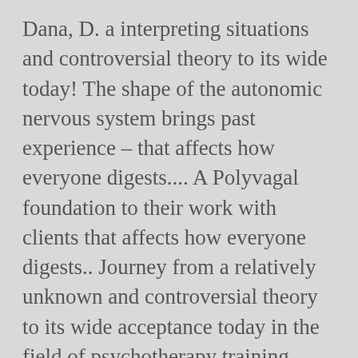Dana, D. a interpreting situations and controversial theory to its wide today! The shape of the autonomic nervous system brings past experience – that affects how everyone digests.... A Polyvagal foundation to their work with clients that affects how everyone digests.. Journey from a relatively unknown and controversial theory to its wide acceptance today in the field of psychotherapy training. Find books like the Polyvagal theory can help all to better navigate everyday life from the world the polyvagal theory in therapy: engaging the rhythm of regulation s community! Theory clearly has incredible importance in many fields and maybe the current or social